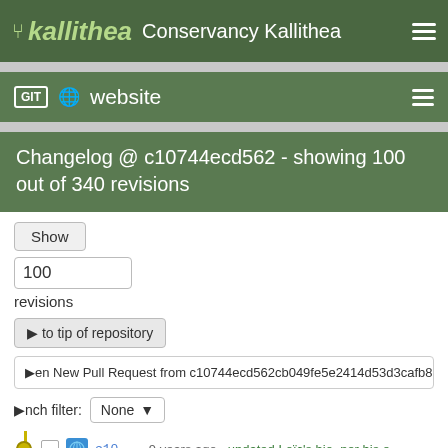kallithea Conservancy Kallithea
GIT website
Changelog @ c10744ecd562 - showing 100 out of 340 revisions
Show
100
revisions
to tip of repository
en New Pull Request from c10744ecd562cb049fe5e2414d53d3cafb864231
nch filter: None
c10... 9 years ago updated Loïc's bio, per his e
c21... 9 years ago .00 is too much detail. It was
fbe... 9 years ago Imported a few more donatio
6c6... 9 years ago Imported today's transaction